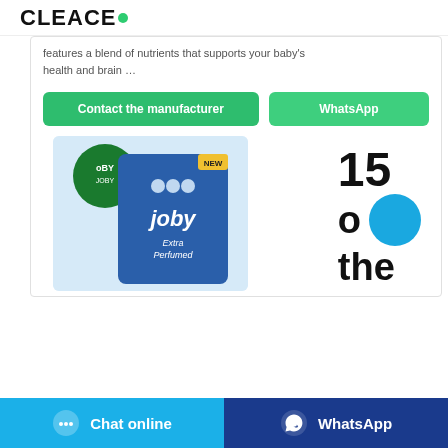CLEACE
features a blend of nutrients that supports your baby's health and brain …
Contact the manufacturer | WhatsApp
[Figure (photo): JOBY Extra Perfumed washing powder product bag, blue packaging with green and white accents, marked 'NEW']
15 o the
Chat online | WhatsApp